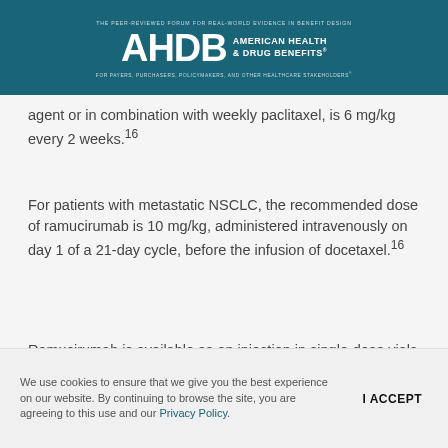THE PEER-REVIEWED FORUM FOR REAL-WORLD EVIDENCE IN BENEFIT DESIGN | AHDB AMERICAN HEALTH & DRUG BENEFITS | FOR PAYERS, PURCHASERS, POLICYMAKERS, AND OTHER HEALTHCARE STAKEHOLDERS
agent or in combination with weekly paclitaxel, is 6 mg/kg every 2 weeks.16
For patients with metastatic NSCLC, the recommended dose of ramucirumab is 10 mg/kg, administered intravenously on day 1 of a 21-day cycle, before the infusion of docetaxel.16
Ramucirumab is available as an injection in single-dose vials in a 100-mg/10-mL (10 mg per mL) solution and in a 500-mg/50-mL (10 mg per mL) solution.16
We use cookies to ensure that we give you the best experience on our website. By continuing to browse the site, you are agreeing to this use and our Privacy Policy.